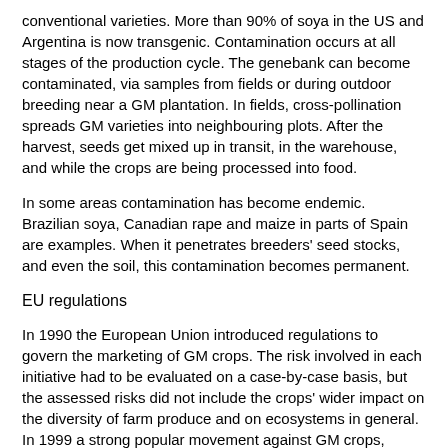conventional varieties. More than 90% of soya in the US and Argentina is now transgenic. Contamination occurs at all stages of the production cycle. The genebank can become contaminated, via samples from fields or during outdoor breeding near a GM plantation. In fields, cross-pollination spreads GM varieties into neighbouring plots. After the harvest, seeds get mixed up in transit, in the warehouse, and while the crops are being processed into food.
In some areas contamination has become endemic. Brazilian soya, Canadian rape and maize in parts of Spain are examples. When it penetrates breeders' seed stocks, and even the soil, this contamination becomes permanent.
EU regulations
In 1990 the European Union introduced regulations to govern the marketing of GM crops. The risk involved in each initiative had to be evaluated on a case-by-case basis, but the assessed risks did not include the crops' wider impact on the diversity of farm produce and on ecosystems in general. In 1999 a strong popular movement against GM crops, combined with resistance from local and regional governments, won an official EU moratorium on new permits for GM crops. A new directive, 2001/18 CE, based on the precautionary principle, was issued in 2001 but the moratorium effectively remained in place until 2004.
During this period the main exporters of GM plants, the US, Canada and Argentina, lodged a complaint against the EU at the World